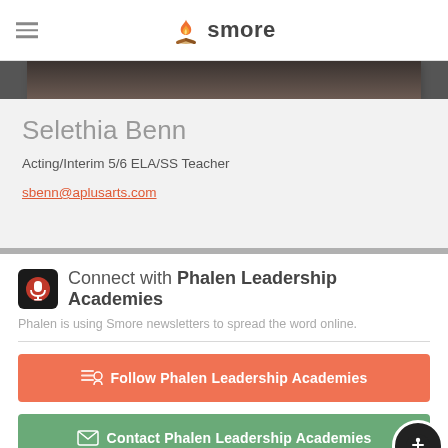smore
[Figure (photo): Partial photo of person, cropped at top of profile section]
Selethia Benn
Acting/Interim 5/6 ELA/SS Teacher
sbenn@aplusarts.com
Connect with Phalen Leadership Academies
Phalen is using Smore newsletters to spread the word online.
Follow Phalen Leadership Academies
Contact Phalen Leadership Academies